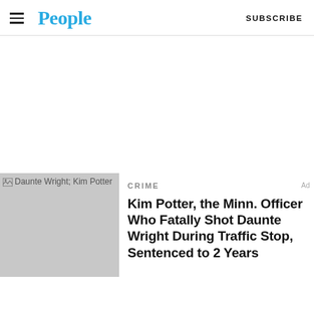People | SUBSCRIBE
[Figure (other): Large blank white advertisement area]
[Figure (photo): Broken image placeholder showing 'Daunte Wright; Kim Potter']
CRIME
Kim Potter, the Minn. Officer Who Fatally Shot Daunte Wright During Traffic Stop, Sentenced to 2 Years